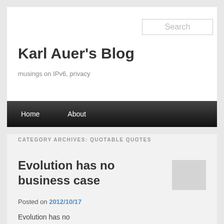Search
Karl Auer's Blog
musings on IPv6, privacy
Home  About
CATEGORY ARCHIVES: QUOTABLE QUOTES
Evolution has no business case
Posted on 2012/10/17
Evolution has no